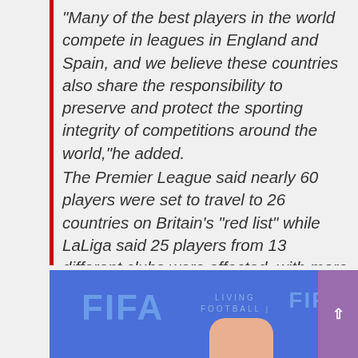“Many of the best players in the world compete in leagues in England and Spain, and we believe these countries also share the responsibility to preserve and protect the sporting integrity of competitions around the world,”he added. The Premier League said nearly 60 players were set to travel to 26 countries on Britain’s “red list” while LaLiga said 25 players from 13 different clubs were affected, with more likely to follow when Ecuador and Venezuela announce their squads.
[Figure (photo): FIFA backdrop banner with blue background showing FIFA logo on left, LIVING FOOTBALL FIFA text in center-right, and a partial view of a hand at the bottom. A purple scroll-to-top button is visible in the bottom right corner.]